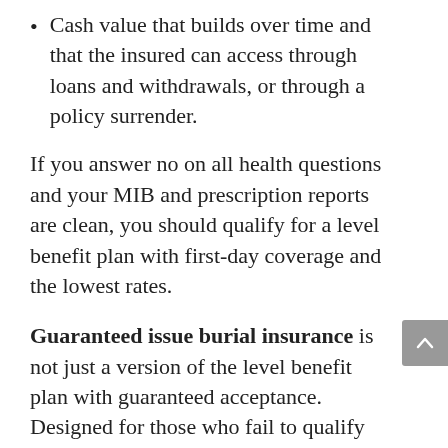Cash value that builds over time and that the insured can access through loans and withdrawals, or through a policy surrender.
If you answer no on all health questions and your MIB and prescription reports are clean, you should qualify for a level benefit plan with first-day coverage and the lowest rates.
Guaranteed issue burial insurance is not just a version of the level benefit plan with guaranteed acceptance. Designed for those who fail to qualify for other plans due to their medical status and history,